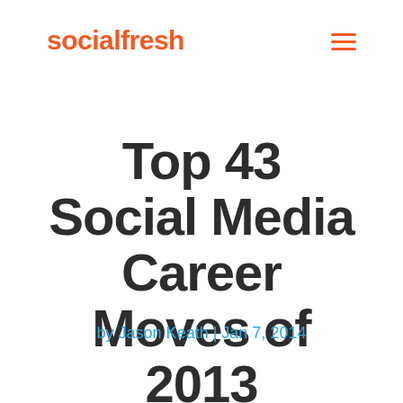socialfresh
Top 43 Social Media Career Moves of 2013
by Jason Keath | Jan 7, 2014